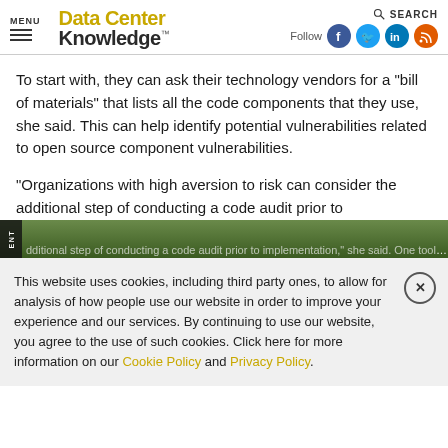MENU | Data Center Knowledge | Follow | SEARCH
To start with, they can ask their technology vendors for a "bill of materials" that lists all the code components that they use, she said. This can help identify potential vulnerabilities related to open source component vulnerabilities.
"Organizations with high aversion to risk can consider the additional step of conducting a code audit prior to implementation," she said. One tool that helps companies do...
This website uses cookies, including third party ones, to allow for analysis of how people use our website in order to improve your experience and our services. By continuing to use our website, you agree to the use of such cookies. Click here for more information on our Cookie Policy and Privacy Policy.